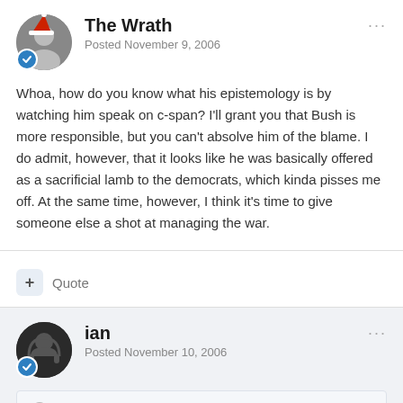The Wrath — Posted November 9, 2006
Whoa, how do you know what his epistemology is by watching him speak on c-span? I'll grant you that Bush is more responsible, but you can't absolve him of the blame. I do admit, however, that it looks like he was basically offered as a sacrificial lamb to the democrats, which kinda pisses me off. At the same time, however, I think it's time to give someone else a shot at managing the war.
+ Quote
ian — Posted November 10, 2006
Moose said: